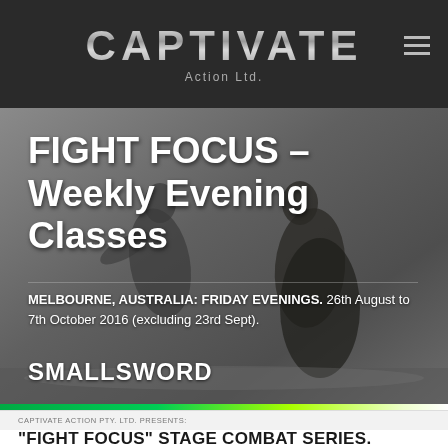CAPTIVATE Action Ltd.
FIGHT FOCUS – Weekly Evening Classes
MELBOURNE, AUSTRALIA: FRIDAY EVENINGS.  26th August to 7th October 2016 (excluding 23rd Sept).
SMALLSWORD
[Figure (photo): Two fighters in period costume engaged in stage combat, viewed from the side against a neutral studio background]
CAPTIVATE ACTION PTY. LTD. PRESENTS:
"FIGHT FOCUS" STAGE COMBAT SERIES. EVENING CLASSES FRIDAY